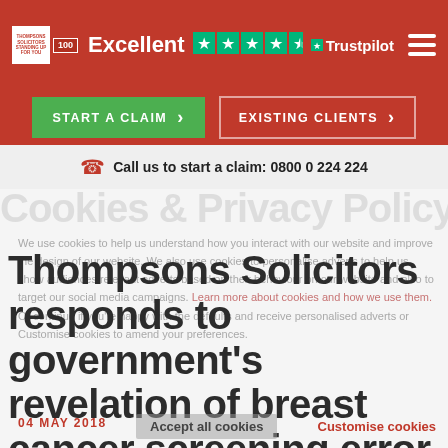Excellent ★★★★½ Trustpilot
START A CLAIM   EXISTING CLIENTS
Call us to start a claim:  0800 0 224 224
Cookies & Privacy Policy
We use cookies to help us understand how you interact with our website and improve the design of our website. We also use cookies to personalise adverts to help us show audiences relevant adverts based on their behaviour on our website and also to target our social media campaigns. Learn more about cookies and how we use them. Or continue if you're happy with the defaults and receive personalised adverts or Customise cookies to amend your preferences.
Thompsons Solicitors responds to government's revelation of breast cancer screening error
04 MAY 2018
Accept all cookies   Customise cookies